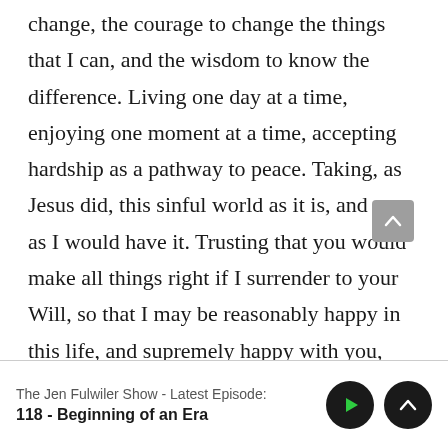change, the courage to change the things that I can, and the wisdom to know the difference. Living one day at a time, enjoying one moment at a time, accepting hardship as a pathway to peace. Taking, as Jesus did, this sinful world as it is, and not as I would have it. Trusting that you would make all things right if I surrender to your Will, so that I may be reasonably happy in this life, and supremely happy with you, forever in the next, amen. Our Lady, Seat of Wisdom, pray for us!
The Jen Fulwiler Show - Latest Episode:
118 - Beginning of an Era